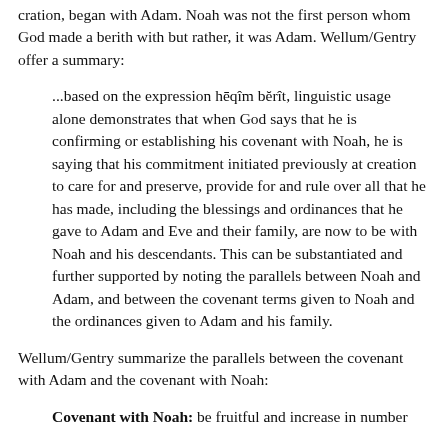cration, began with Adam. Noah was not the first person whom God made a berith with but rather, it was Adam. Wellum/Gentry offer a summary:
...based on the expression hēqîm bĕrît, linguistic usage alone demonstrates that when God says that he is confirming or establishing his covenant with Noah, he is saying that his commitment initiated previously at creation to care for and preserve, provide for and rule over all that he has made, including the blessings and ordinances that he gave to Adam and Eve and their family, are now to be with Noah and his descendants. This can be substantiated and further supported by noting the parallels between Noah and Adam, and between the covenant terms given to Noah and the ordinances given to Adam and his family.
Wellum/Gentry summarize the parallels between the covenant with Adam and the covenant with Noah:
Covenant with Noah: be fruitful and increase in number